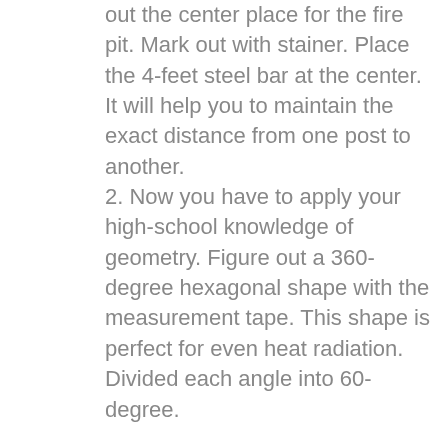out the center place for the fire pit. Mark out with stainer. Place the 4-feet steel bar at the center. It will help you to maintain the exact distance from one post to another.
2. Now you have to apply your high-school knowledge of geometry. Figure out a 360-degree hexagonal shape with the measurement tape. This shape is perfect for even heat radiation. Divided each angle into 60-degree.
3. Point out six corners and mark them. Using a field measurement tape reassures that every hole is at the same distance from the center. Also, look out that each post hole is at the same